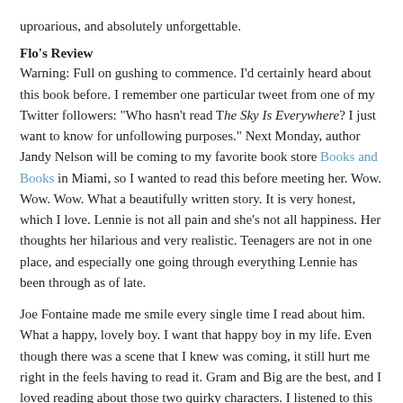uproarious, and absolutely unforgettable.
Flo's Review
Warning: Full on gushing to commence. I'd certainly heard about this book before. I remember one particular tweet from one of my Twitter followers: "Who hasn't read The Sky Is Everywhere? I just want to know for unfollowing purposes." Next Monday, author Jandy Nelson will be coming to my favorite book store Books and Books in Miami, so I wanted to read this before meeting her. Wow. Wow. Wow. What a beautifully written story. It is very honest, which I love. Lennie is not all pain and she's not all happiness. Her thoughts her hilarious and very realistic. Teenagers are not in one place, and especially one going through everything Lennie has been through as of late.
Joe Fontaine made me smile every single time I read about him. What a happy, lovely boy. I want that happy boy in my life. Even though there was a scene that I knew was coming, it still hurt me right in the feels having to read it. Gram and Big are the best, and I loved reading about those two quirky characters. I listened to this on audiobook, and at the beginning and end of each disc there was clarinet music. Beautiful, perfect clarinet music. And the audio narrator, Julia Whelan, is full of expression and was a perfect Lennie.